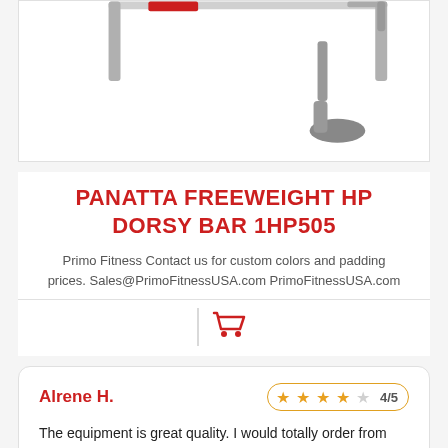[Figure (photo): Partial view of a Panatta Freeweight HP Dorsy Bar 1HP505 gym equipment, showing metal frame and foot base against white background]
PANATTA FREEWEIGHT HP DORSY BAR 1HP505
Primo Fitness Contact us for custom colors and padding prices. Sales@PrimoFitnessUSA.com PrimoFitnessUSA.com
[Figure (illustration): Red shopping cart icon with vertical divider line]
Alrene H.
4/5 stars rating
The equipment is great quality. I would totally order from them again and I highly recommend them!